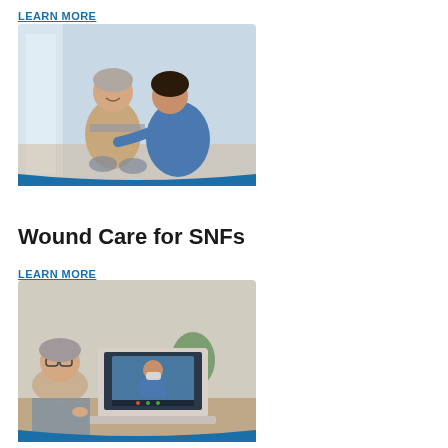LEARN MORE
[Figure (photo): A nurse in blue scrubs crouching beside an elderly woman in a wheelchair in a hospital hallway, smiling and holding her hands.]
Wound Care for SNFs
LEARN MORE
[Figure (photo): An elderly person sitting at a desk looking at a laptop screen showing a video call with a masked healthcare professional in blue scrubs.]